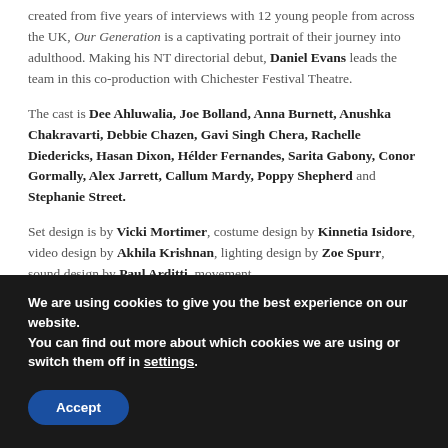created from five years of interviews with 12 young people from across the UK, Our Generation is a captivating portrait of their journey into adulthood. Making his NT directorial debut, Daniel Evans leads the team in this co-production with Chichester Festival Theatre.
The cast is Dee Ahluwalia, Joe Bolland, Anna Burnett, Anushka Chakravarti, Debbie Chazen, Gavi Singh Chera, Rachelle Diedericks, Hasan Dixon, Hélder Fernandes, Sarita Gabony, Conor Gormally, Alex Jarrett, Callum Mardy, Poppy Shepherd and Stephanie Street.
Set design is by Vicki Mortimer, costume design by Kinnetia Isidore, video design by Akhila Krishnan, lighting design by Zoe Spurr, sound design by Paul Arditti, movement
We are using cookies to give you the best experience on our website.
You can find out more about which cookies we are using or switch them off in settings.
Accept